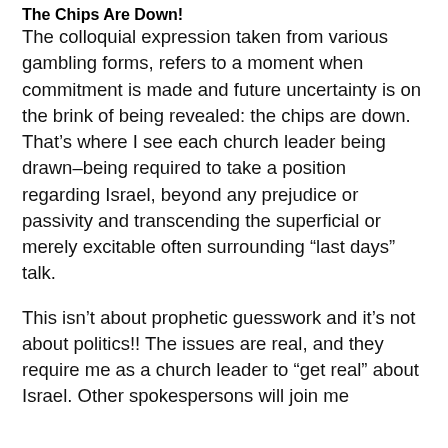The Chips Are Down!
The colloquial expression taken from various gambling forms, refers to a moment when commitment is made and future uncertainty is on the brink of being revealed: the chips are down. That’s where I see each church leader being drawn–being required to take a position regarding Israel, beyond any prejudice or passivity and transcending the superficial or merely excitable often surrounding “last days” talk.
This isn’t about prophetic guesswork and it’s not about politics!! The issues are real, and they require me as a church leader to “get real” about Israel. Other spokespersons will join me